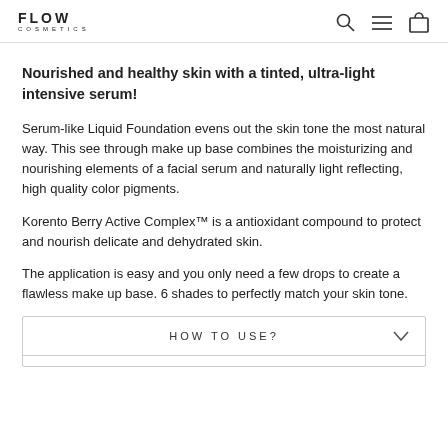FLOW COSMETICS
Nourished and healthy skin with a tinted, ultra-light intensive serum!
Serum-like Liquid Foundation evens out the skin tone the most natural way. This see through make up base combines the moisturizing and nourishing elements of a facial serum and naturally light reflecting, high quality color pigments.
Korento Berry Active Complex™ is a antioxidant compound to protect and nourish delicate and dehydrated skin.
The application is easy and you only need a few drops to create a flawless make up base. 6 shades to perfectly match your skin tone.
HOW TO USE?